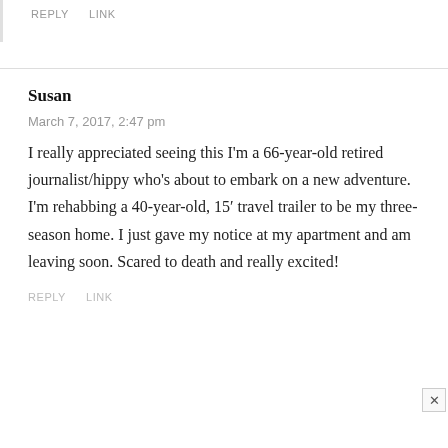REPLY   LINK
Susan
March 7, 2017, 2:47 pm
I really appreciated seeing this I'm a 66-year-old retired journalist/hippy who's about to embark on a new adventure. I'm rehabbing a 40-year-old, 15′ travel trailer to be my three-season home. I just gave my notice at my apartment and am leaving soon. Scared to death and really excited!
REPLY   LINK